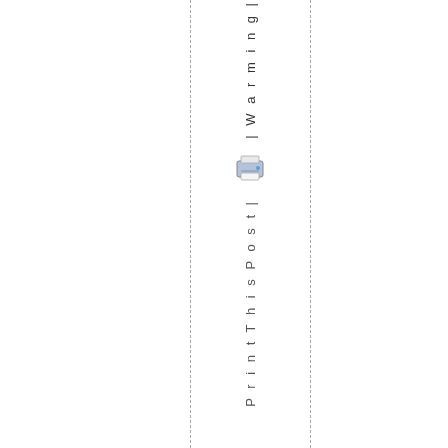| Warning |
[Figure (illustration): Printer icon, small blue/gray printer graphic]
Print This Post |